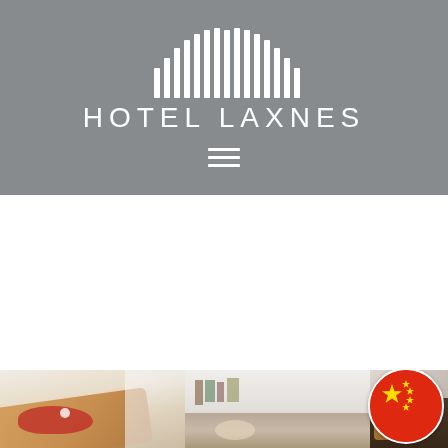[Figure (logo): Hotel Laxnes logo on grey background with white stylized building/crown icon above the text 'HOTEL LAXNES' and a hamburger menu icon below]
[Figure (photo): Bottom portion showing three food/interior photos side by side: toast with red jam on left, cafe/shop interior in middle, waffle with syrup on right. A Chinese flag circle overlay is visible in the bottom right corner.]